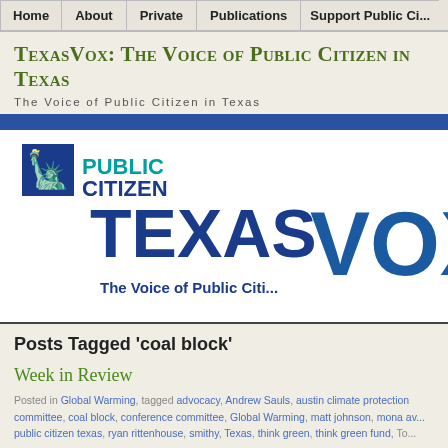Home | About | Private | Publications | Support Public Ci...
TexasVox: The Voice of Public Citizen in Texas
The Voice of Public Citizen in Texas
[Figure (logo): Public Citizen logo with Statue of Liberty icon, and Texas Vox logo with large blue text reading 'TEXAS VOX — The Voice of Public Citi...']
Posts Tagged 'coal block'
Week in Review
Posted in Global Warming, tagged advocacy, Andrew Sauls, austin climate protection committee, coal block, conference committee, Global Warming, matt johnson, mona av... public citizen texas, ryan rittenhouse, smithy, Texas, think green, think green fund, To...